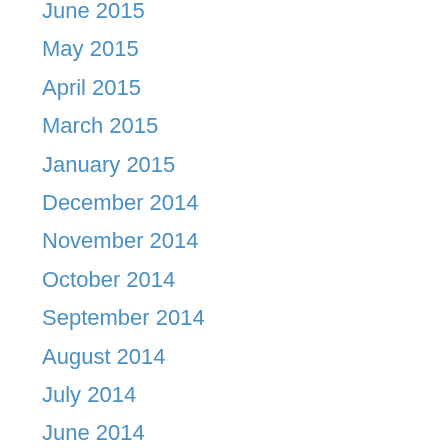June 2015
May 2015
April 2015
March 2015
January 2015
December 2014
November 2014
October 2014
September 2014
August 2014
July 2014
June 2014
May 2014
April 2014
March 2014